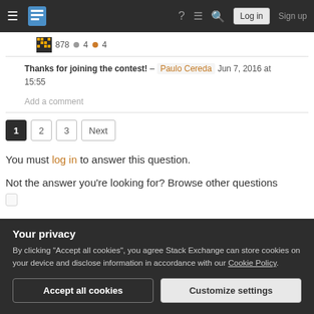Stack Exchange navigation bar with hamburger menu, logo, help, chat, search, Log in, Sign up
878 · 4 (silver) · 4 (bronze)
Thanks for joining the contest! – Paulo Cereda  Jun 7, 2016 at 15:55
Add a comment
1
2
3
Next
You must log in to answer this question.
Not the answer you're looking for? Browse other questions tagged
Your privacy
By clicking "Accept all cookies", you agree Stack Exchange can store cookies on your device and disclose information in accordance with our Cookie Policy.
Accept all cookies
Customize settings